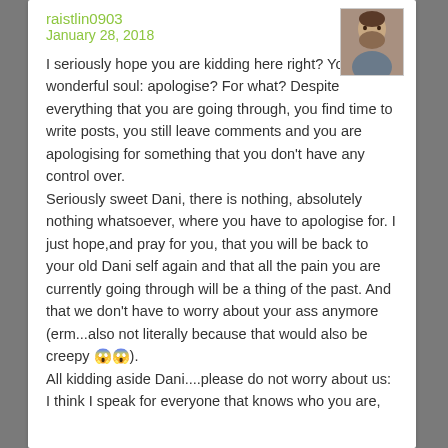raistlin0903
January 28, 2018
[Figure (photo): Avatar photo of user raistlin0903, a bearded man]
I seriously hope you are kidding here right? You wonderful soul: apologise? For what? Despite everything that you are going through, you find time to write posts, you still leave comments and you are apologising for something that you don't have any control over.
Seriously sweet Dani, there is nothing, absolutely nothing whatsoever, where you have to apologise for. I just hope,and pray for you, that you will be back to your old Dani self again and that all the pain you are currently going through will be a thing of the past. And that we don't have to worry about your ass anymore (erm...also not literally because that would also be creepy 😱😱).
All kidding aside Dani....please do not worry about us: I think I speak for everyone that knows who you are,